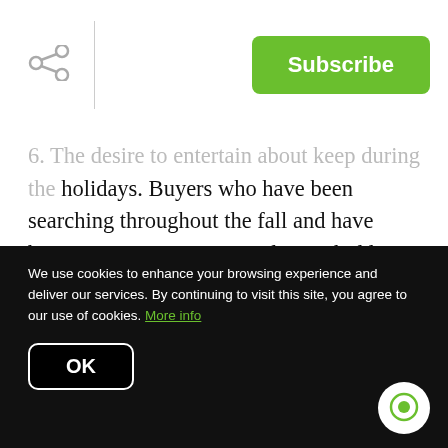Subscribe
...The desire to entertain about keep during the holidays. Buyers who have been searching throughout the fall and have been running into more and more bidding wars are still on the lookout. Your home may be the answer.
7. This season is the sweet spot for sellers, and the number of listings will increase after the holidays. In many parts of the country, more new construction
We use cookies to enhance your browsing experience and deliver our services. By continuing to visit this site, you agree to our use of cookies. More info
OK